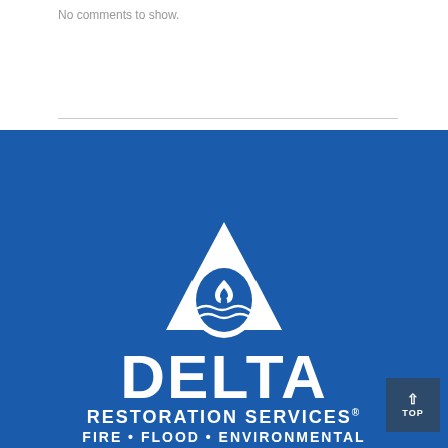No comments to show.
[Figure (logo): Delta Restoration Services logo: white triangle with water drop circle containing flame and waves, on blue background, with text DELTA RESTORATION SERVICES® FIRE • FLOOD • ENVIRONMENTAL]
TOP